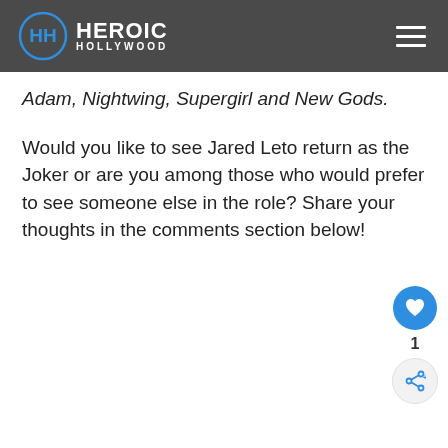HEROIC HOLLYWOOD
Adam, Nightwing, Supergirl and New Gods.
Would you like to see Jared Leto return as the Joker or are you among those who would prefer to see someone else in the role? Share your thoughts in the comments section below!
[Figure (other): Like/heart button (blue circle with heart icon), count of 1, and share button (light circle with share icon) — floating action buttons on the right side of the page]